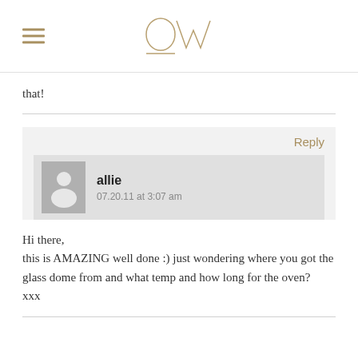OW (logo)
that!
Reply
allie
07.20.11 at 3:07 am
Hi there,
this is AMAZING well done :) just wondering where you got the glass dome from and what temp and how long for the oven?
xxx